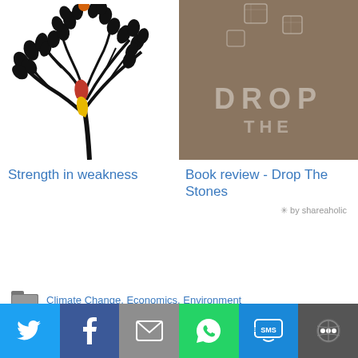[Figure (illustration): Black decorative tree with branches and colorful leaves (red and yellow teardrop shapes) on white background]
[Figure (photo): Book cover 'Drop The Stones' with ice cubes falling on a brown/tan background]
Strength in weakness
Book review - Drop The Stones
* by shareaholic
Climate Change, Economics, Environment
PREVIOUS POST
A prayer for the ages